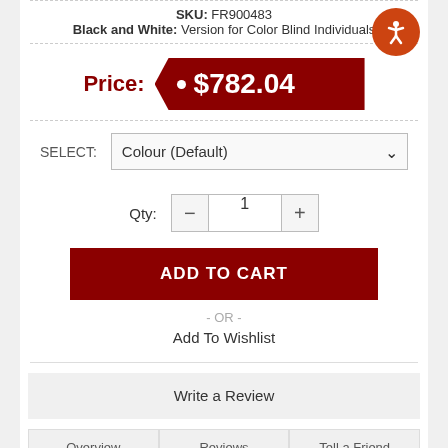SKU: FR900483
Black and White: Version for Color Blind Individuals
Price: $782.04
SELECT: Colour (Default)
Qty: 1
ADD TO CART
- OR -
Add To Wishlist
Write a Review
Overview | Reviews | Tell a Friend